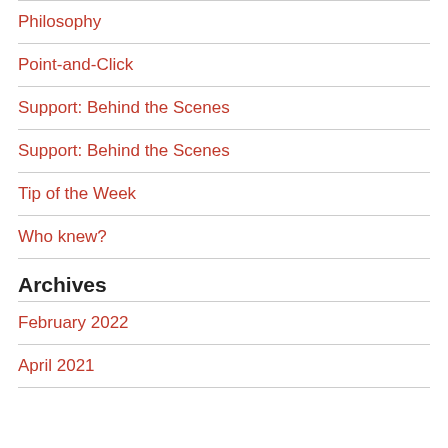Philosophy
Point-and-Click
Support: Behind the Scenes
Support: Behind the Scenes
Tip of the Week
Who knew?
Archives
February 2022
April 2021